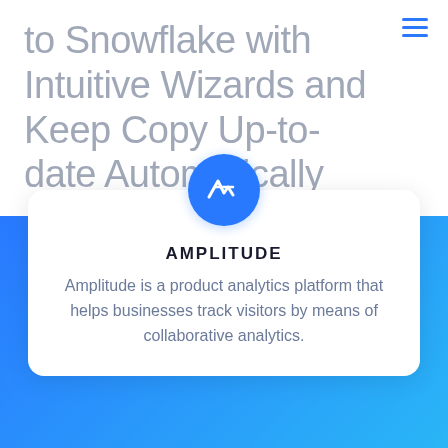to Snowflake with Intuitive Wizards and Keep Copy Up-to-date Automatically
[Figure (logo): Amplitude logo: blue circle with stylized A and waveform symbol in white]
AMPLITUDE
Amplitude is a product analytics platform that helps businesses track visitors by means of collaborative analytics.